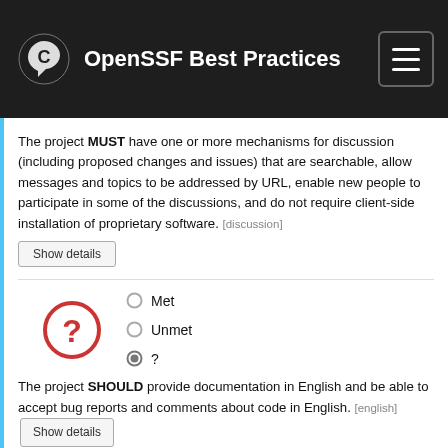OpenSSF Best Practices
The project MUST have one or more mechanisms for discussion (including proposed changes and issues) that are searchable, allow messages and topics to be addressed by URL, enable new people to participate in some of the discussions, and do not require client-side installation of proprietary software. [discussion]
Show details
[Figure (infographic): Question mark icon in red circle with radio button options: Met (unselected), Unmet (unselected), ? (selected)]
The project SHOULD provide documentation in English and be able to accept bug reports and comments about code in English. [english] Show details